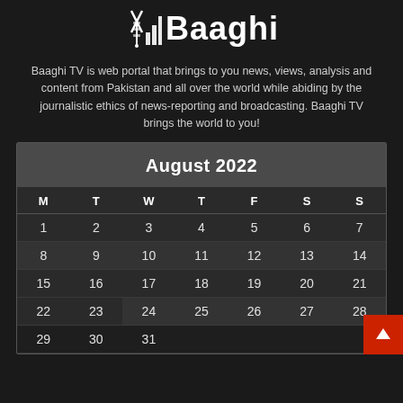[Figure (logo): Baaghi TV logo with decorative icon on the left and the word Baaghi in bold white serif/display font]
Baaghi TV is web portal that brings to you news, views, analysis and content from Pakistan and all over the world while abiding by the journalistic ethics of news-reporting and broadcasting. Baaghi TV brings the world to you!
| M | T | W | T | F | S | S |
| --- | --- | --- | --- | --- | --- | --- |
| 1 | 2 | 3 | 4 | 5 | 6 | 7 |
| 8 | 9 | 10 | 11 | 12 | 13 | 14 |
| 15 | 16 | 17 | 18 | 19 | 20 | 21 |
| 22 | 23 | 24 | 25 | 26 | 27 | 28 |
| 29 | 30 | 31 |  |  |  |  |